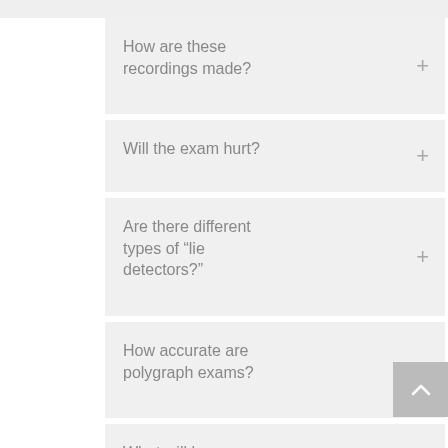How are these recordings made?
Will the exam hurt?
Are there different types of “lie detectors?”
How accurate are polygraph exams?
What will happen during the exam?